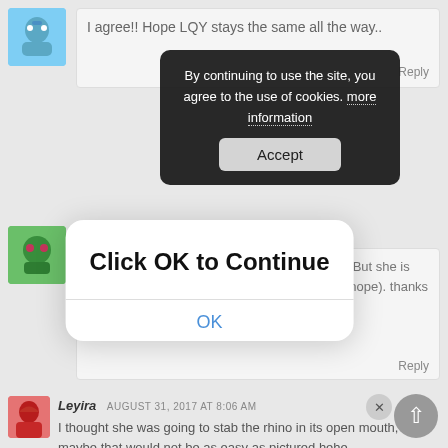I agree!! Hope LQY stays the same all the way..
Reply
Aisara  AUGUST 31, 2017 AT 7:54 AM
There is reason why LQY looks highly on GS. But she is right to hope she outdoes GS soon enough (i hope). thanks QQ for the chappy
Reply
[Figure (screenshot): Cookie consent banner: 'By continuing to use the site, you agree to the use of cookies. more information' with an Accept button]
[Figure (screenshot): Modal dialog: 'Click OK to Continue' with an OK button]
Leyira  AUGUST 31, 2017 AT 8:06 AM
I thought she was going to stab the rhino in its open mouth, but maybe that would not be as easy as pictured hehe